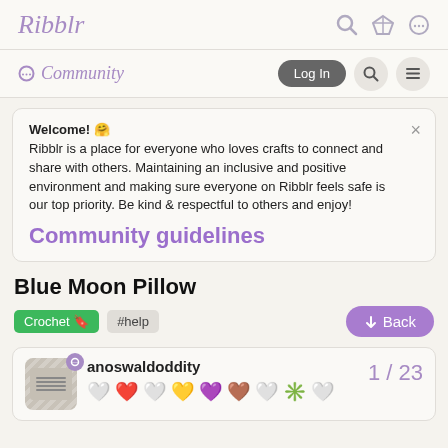Ribblr
Community
Welcome! 🤗
Ribblr is a place for everyone who loves crafts to connect and share with others. Maintaining an inclusive and positive environment and making sure everyone on Ribblr feels safe is our top priority. Be kind & respectful to others and enjoy!
Community guidelines
Blue Moon Pillow
Crochet 🔖  #help
anoswaldoddity  1 / 23